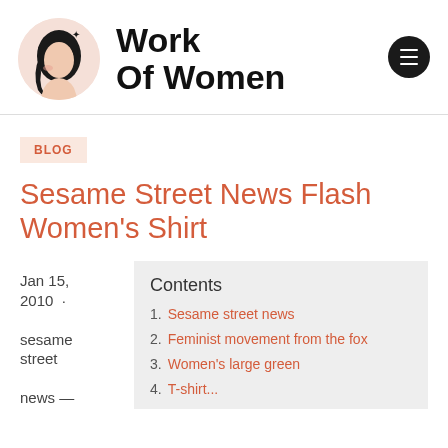Work Of Women
BLOG
Sesame Street News Flash Women's Shirt
Jan 15, 2010 · sesame street news —
1. Sesame street news
2. Feminist movement from the fox
3. Women's large green
4. T-shirt...